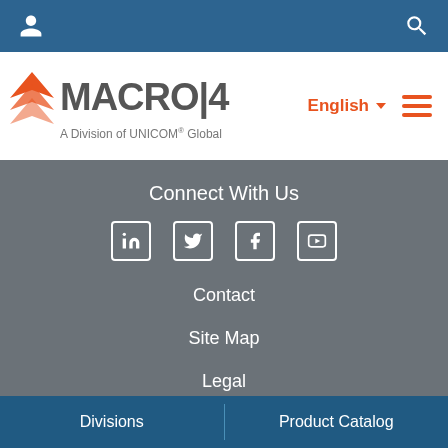[Figure (screenshot): Top navigation bar with user icon and search icon on dark blue background]
[Figure (logo): MACRO 4 logo with orange arrow icon, subtitle 'A Division of UNICOM Global', English language selector and hamburger menu in orange]
Connect With Us
[Figure (infographic): Four social media icons: LinkedIn, Twitter, Facebook, YouTube - white outlined boxes on gray background]
Contact
Site Map
Legal
Divisions | Product Catalog